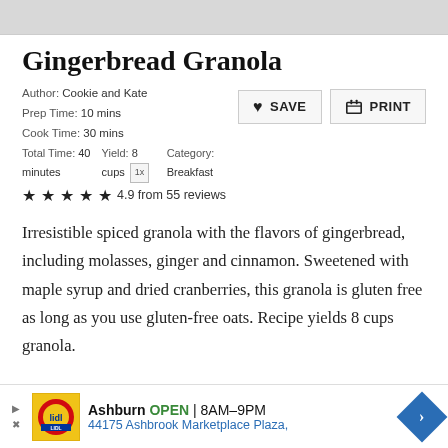[Figure (photo): Top portion of a food photo (gingerbread granola), cropped, gray placeholder visible]
Gingerbread Granola
Author: Cookie and Kate
Prep Time: 10 mins
Cook Time: 30 mins
Total Time: 40 minutes   Yield: 8 cups [1x]   Category: Breakfast
★★★★★ 4.9 from 55 reviews
Irresistible spiced granola with the flavors of gingerbread, including molasses, ginger and cinnamon. Sweetened with maple syrup and dried cranberries, this granola is gluten free as long as you use gluten-free oats. Recipe yields 8 cups granola.
[Figure (infographic): Advertisement banner for Lidl grocery store in Ashburn, open 8AM-9PM, 44175 Ashbrook Marketplace Plaza, with navigation arrow icon]